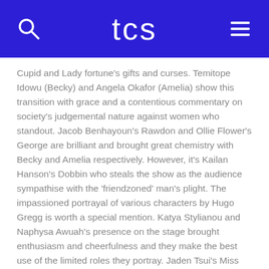tcs
Cupid and Lady fortune's gifts and curses. Temitope Idowu (Becky) and Angela Okafor (Amelia) show this transition with grace and a contentious commentary on society's judgemental nature against women who standout. Jacob Benhayoun's Rawdon and Ollie Flower's George are brilliant and brought great chemistry with Becky and Amelia respectively. However, it's Kailan Hanson's Dobbin who steals the show as the audience sympathise with the 'friendzoned' man's plight. The impassioned portrayal of various characters by Hugo Gregg is worth a special mention. Katya Stylianou and Naphysa Awuah's presence on the stage brought enthusiasm and cheerfulness and they make the best use of the limited roles they portray. Jaden Tsui's Miss Crawley and Lord Steynne were great performances as they transitioned from light-hearted to envious villainy but their portrayal of the Manager lacked the lustre and grandeur needed to uplift the role.
Although intended as a play with no heroes, we end up